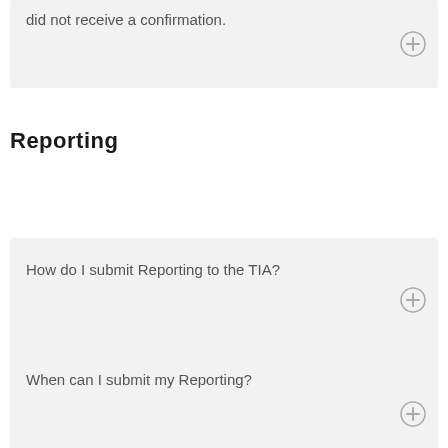did not receive a confirmation.
Reporting
How do I submit Reporting to the TIA?
When can I submit my Reporting?